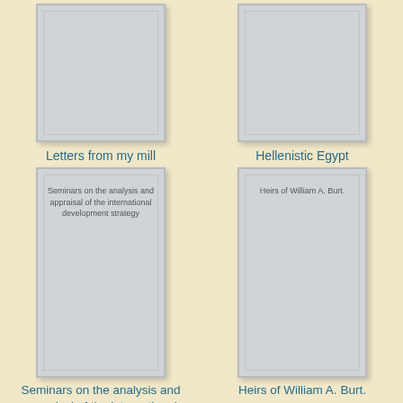[Figure (illustration): Book cover placeholder (gray) for 'Letters from my mill']
Letters from my mill
[Figure (illustration): Book cover placeholder (gray) for 'Hellenistic Egypt']
Hellenistic Egypt
[Figure (illustration): Book cover placeholder (gray) with text 'Seminars on the analysis and appraisal of the international development strategy']
Seminars on the analysis and appraisal of the international development strategy
[Figure (illustration): Book cover placeholder (gray) with text 'Heirs of William A. Burt.']
Heirs of William A. Burt.